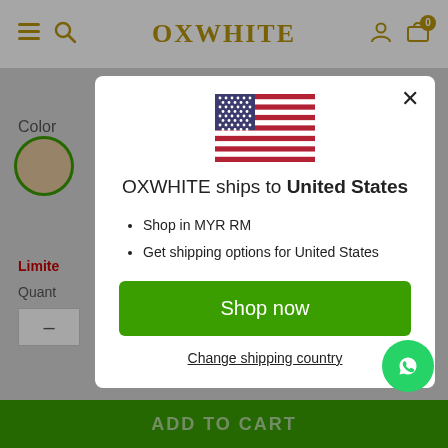OXWHITE
[Figure (illustration): US flag icon centered in modal dialog]
OXWHITE ships to United States
Shop in MYR RM
Get shipping options for United States
Shop now
Change shipping country
ADD TO CART